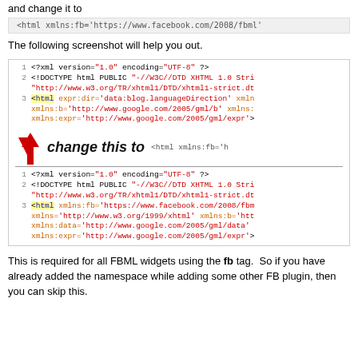and change it to
[Figure (screenshot): Code box showing: <html xmlns:fb='https://www.facebook.com/2008/fbml']
The following screenshot will help you out.
[Figure (screenshot): Screenshot showing XML/HTML code with line numbers 1-3, an arrow pointing to line 3 with 'change this to <html xmlns:fb='h...' label, and a second code block below showing the changed code with facebook fbml namespace.]
This is required for all FBML widgets using the fb tag.  So if you have already added the namespace while adding some other FB plugin, then you can skip this.